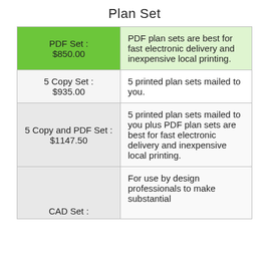Plan Set
| Set Type | Description |
| --- | --- |
| PDF Set : $850.00 | PDF plan sets are best for fast electronic delivery and inexpensive local printing. |
| 5 Copy Set : $935.00 | 5 printed plan sets mailed to you. |
| 5 Copy and PDF Set : $1147.50 | 5 printed plan sets mailed to you plus PDF plan sets are best for fast electronic delivery and inexpensive local printing. |
| CAD Set : | For use by design professionals to make substantial |